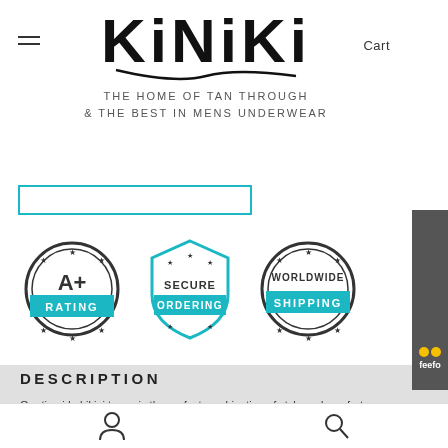[Figure (logo): KINIKI logo with swash underline and tagline 'THE HOME OF TAN THROUGH & THE BEST IN MENS UNDERWEAR']
[Figure (infographic): Three trust badges: A+ Rating, Secure Ordering, Worldwide Shipping]
DESCRIPTION
Our tie-side bikini tanga is the perfect combination of style and comfort.
[Figure (other): Feefo Reviews side tab]
[Figure (other): Bottom navigation icons: user icon and search icon]